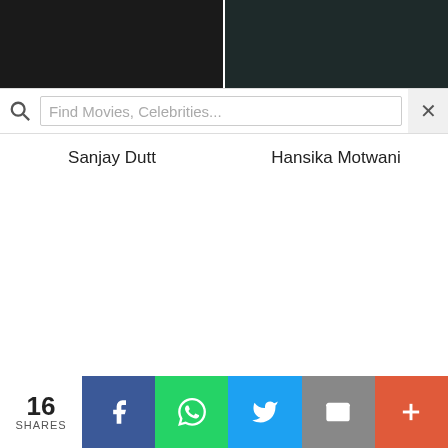[Figure (screenshot): Dark movie still / celebrity photo for Sanjay Dutt]
[Figure (screenshot): Dark movie still / celebrity photo for Hansika Motwani]
[Figure (screenshot): Search bar overlay with magnifying glass icon, placeholder text 'Find Movies, Celebrities...', and X close button]
Sanjay Dutt
Hansika Motwani
16 SHARES
[Figure (infographic): Social share bar with Facebook, WhatsApp, Twitter, Email, and More buttons]